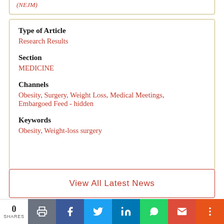(NEJM)
Type of Article
Research Results
Section
MEDICINE
Channels
Obesity, Surgery, Weight Loss, Medical Meetings, Embargoed Feed - hidden
Keywords
Obesity, Weight-loss surgery
View All Latest News
0 SHARES